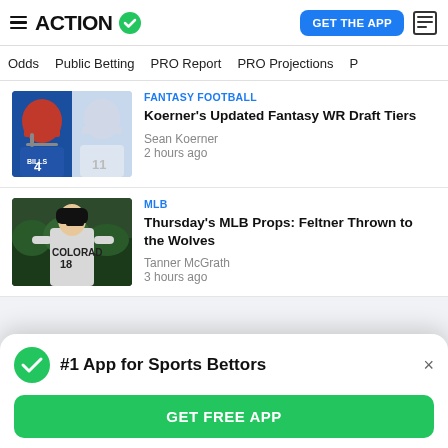ACTION
Odds  Public Betting  PRO Report  PRO Projections
[Figure (photo): Two NFL players in blue uniforms (Bills) side by side]
FANTASY FOOTBALL
Koerner's Updated Fantasy WR Draft Tiers
Sean Koerner
2 hours ago
[Figure (photo): Colorado Rockies pitcher #18 in gray uniform on green field background]
MLB
Thursday's MLB Props: Feltner Thrown to the Wolves
Tanner McGrath
3 hours ago
#1 App for Sports Bettors
GET FREE APP
3 hours ago